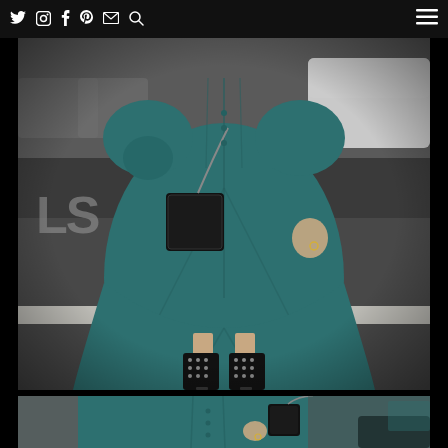Navigation bar with social icons (Twitter, Instagram, Facebook, Pinterest, Email, Search) and hamburger menu
[Figure (photo): Fashion street style photo: woman in teal/dark cyan denim midi dress with puff sleeves, carrying a black chain shoulder bag, wearing black lace-up ankle boots, standing on a city street crosswalk. Only lower body and torso visible, no head. Cars parked in background.]
[Figure (photo): Second cropped fashion photo showing close-up of torso in same teal denim dress with chain bag, outdoor urban background.]